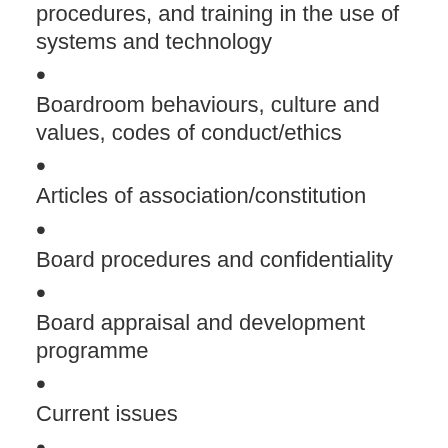procedures, and training in the use of systems and technology
Boardroom behaviours, culture and values, codes of conduct/ethics
Articles of association/constitution
Board procedures and confidentiality
Board appraisal and development programme
Current issues
The nature of the company, its business and its markets